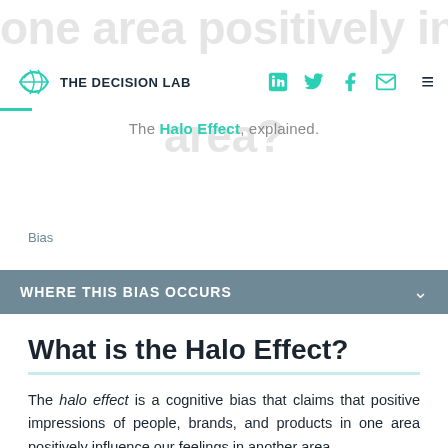[Figure (screenshot): Faded large background text reading 'one area positively influence our opinions in another area?']
THE DECISION LAB
The Halo Effect, explained.
Bias
WHERE THIS BIAS OCCURS
What is the Halo Effect?
The halo effect is a cognitive bias that claims that positive impressions of people, brands, and products in one area positively influence our feelings in another area.